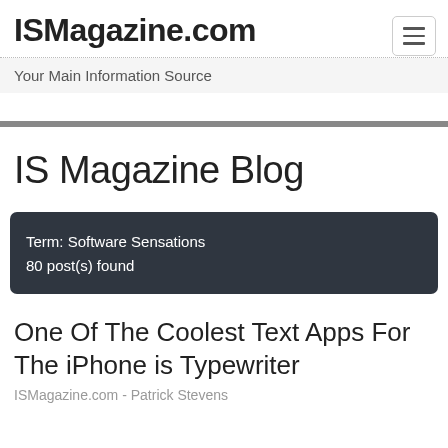ISMagazine.com
Your Main Information Source
IS Magazine Blog
Term: Software Sensations
80 post(s) found
One Of The Coolest Text Apps For The iPhone is Typewriter
ISMagazine.com - Patrick Stevens